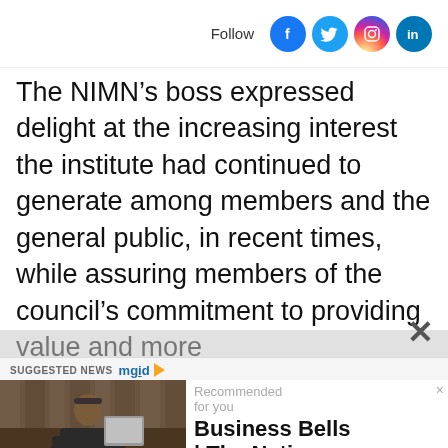Follow [Facebook] [Twitter] [Instagram] [LinkedIn]
The NIMN’s boss expressed delight at the increasing interest the institute had continued to generate among members and the general public, in recent times, while assuring members of the council’s commitment to providing value and more
SUGGESTED NEWS mgid
[Figure (screenshot): Ad widget showing a man seated at a desk with text: Recommended for you / Business Bells | The Nation... / mydailybells.com.ng / AddThis]
Recommended for you
Business Bells | The Nation...
mydailybells.com.ng